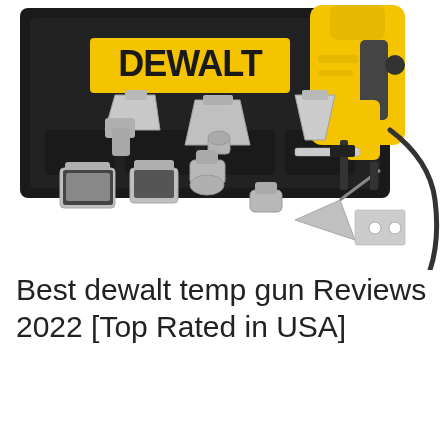[Figure (photo): DeWalt heat gun kit product photo showing a yellow and black DeWalt heat gun alongside multiple silver metallic nozzle attachments and scraper accessories, displayed on a white background with a black carrying case visible behind]
Best dewalt temp gun Reviews 2022 [Top Rated in USA]